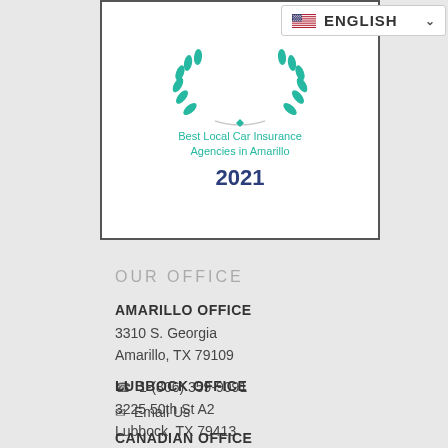[Figure (illustration): Award badge with laurel wreath showing 'Best Local Car Insurance Agencies in Amarillo 2021']
[Figure (other): Language switcher showing US flag and ENGLISH text with dropdown chevron]
OUR OFFICE
AMARILLO OFFICE
3310 S. Georgia
Amarillo, TX 79109
☎ 1-(806) 359-9091
✉ Email Us
LUBBOCK OFFICE
3225 50th St A2
Lubbock, TX 79413
☎ (806) 799-0052
✉ Email Us
CANADIAN OFFICE